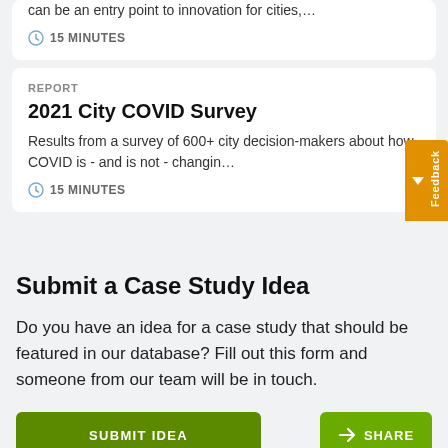can be an entry point to innovation for cities,...
15 MINUTES
REPORT
2021 City COVID Survey
Results from a survey of 600+ city decision-makers about how COVID is - and is not - changin...
15 MINUTES
Submit a Case Study Idea
Do you have an idea for a case study that should be featured in our database? Fill out this form and someone from our team will be in touch.
SUBMIT IDEA
SHARE